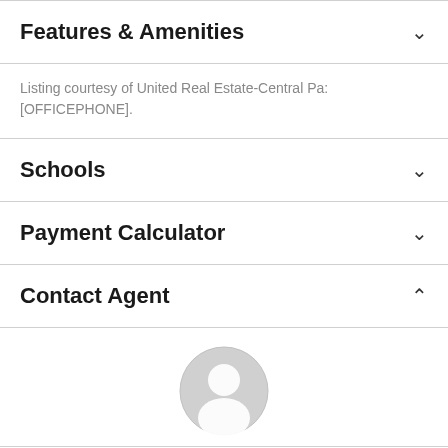Features & Amenities
Listing courtesy of United Real Estate-Central Pa: [OFFICEPHONE].
Schools
Payment Calculator
Contact Agent
[Figure (illustration): Generic user/agent avatar icon, a grey silhouette circle with a person outline inside]
Take a Tour
Ask A Question